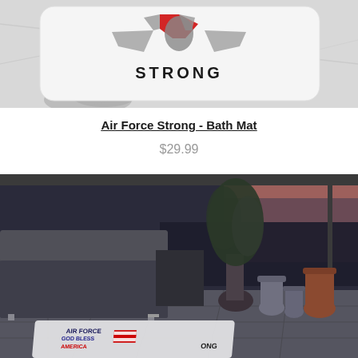[Figure (photo): Product photo of Air Force Strong bath mat on marble surface — white rectangular mat with Air Force logo graphic and text 'STRONG' in dark letters]
Air Force Strong - Bath Mat
$29.99
[Figure (photo): Room lifestyle scene showing a dark grey sofa on a tiled floor near a large window with sunset cityscape view, tall potted plant, decorative vases, and an Air Force themed rug on the floor reading 'AIR FORCE GOD BLESS AMERICA STRONG']